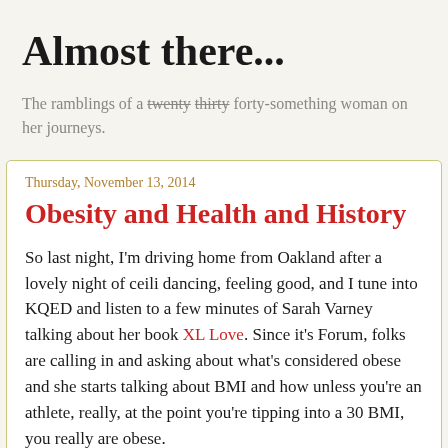Almost there...
The ramblings of a twenty thirty forty-something woman on her journeys.
Thursday, November 13, 2014
Obesity and Health and History
So last night, I'm driving home from Oakland after a lovely night of ceili dancing, feeling good, and I tune into KQED and listen to a few minutes of Sarah Varney talking about her book XL Love. Since it's Forum, folks are calling in and asking about what's considered obese and she starts talking about BMI and how unless you're an athlete, really, at the point you're tipping into a 30 BMI, you really are obese.
And then I turned to KFOG because I remembered it was time for 10@10 and it turned out to be 1988 and it was a fabulous set and I hoped very much that my brain would let it